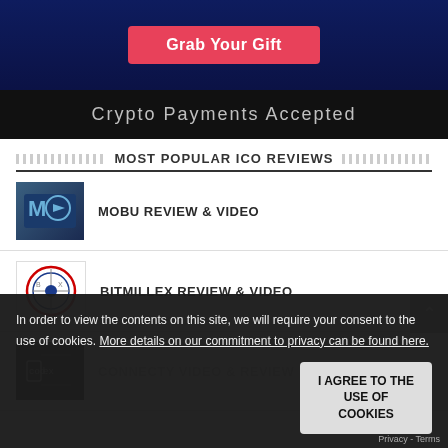[Figure (illustration): Dark blue promotional banner with a character and a pink 'Grab Your Gift' button]
Crypto Payments Accepted
MOST POPULAR ICO REVIEWS
[Figure (logo): MOBU logo thumbnail - stylized M with blue tones]
MOBU REVIEW & VIDEO
[Figure (logo): Bitmillex logo thumbnail - circular logo]
BITMILLEX REVIEW & VIDEO
[Figure (logo): Codex logo - dark background with CODEX text]
[Figure (logo): Connecty logo thumbnail - circular]
CONNECTY VIDEO & REVIEW
In order to view the contents on this site, we will require your consent to the use of cookies. More details on our commitment to privacy can be found here.
I AGREE TO THE USE OF COOKIES
Privacy - Terms